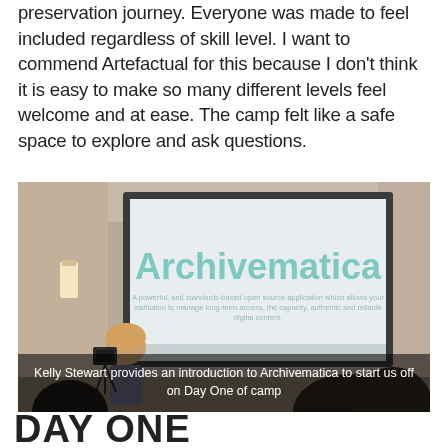preservation journey. Everyone was made to feel included regardless of skill level. I want to commend Artefactual for this because I don't think it is easy to make so many different levels feel welcome and at ease. The camp felt like a safe space to explore and ask questions.
[Figure (photo): Presentation room photo showing a projection screen displaying 'Archivematica' with a person (Kelly Stewart) standing near a camera/tripod on the left, and audience members visible in the foreground.]
Kelly Stewart provides an introduction to Archivematica to start us off on Day One of camp
DAY ONE